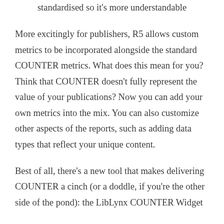standardised so it's more understandable
More excitingly for publishers, R5 allows custom metrics to be incorporated alongside the standard COUNTER metrics. What does this mean for you? Think that COUNTER doesn't fully represent the value of your publications? Now you can add your own metrics into the mix. You can also customize other aspects of the reports, such as adding data types that reflect your unique content.
Best of all, there's a new tool that makes delivering COUNTER a cinch (or a doddle, if you're the other side of the pond): the LibLynx COUNTER Widget